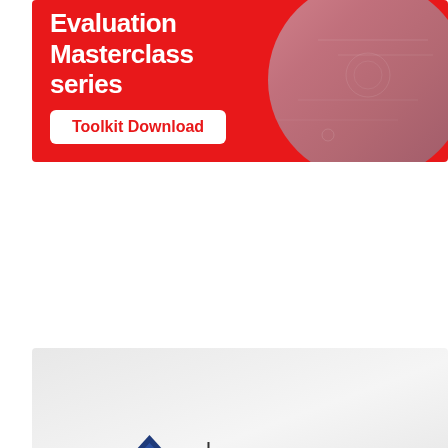[Figure (illustration): Red banner advertisement for Evaluation Masterclass series with toolkit download button and tech/circuit board imagery on the right side]
[Figure (logo): Lindsey Regulatory Affairs Consulting, LLC company logo featuring a blue diamond with white 'LC' letters, a vertical divider, and the company name text]
[Figure (illustration): Partial banner showing 'Are You' text in dark blue on a light blue/grey background with diagonal stripe decorative element]